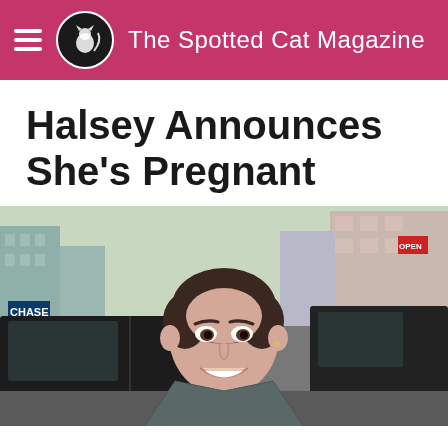The Spotted Cat Magazine
Halsey Announces She’s Pregnant
[Figure (photo): Photo of Halsey smiling on a city street with a black SUV and urban buildings in the background]